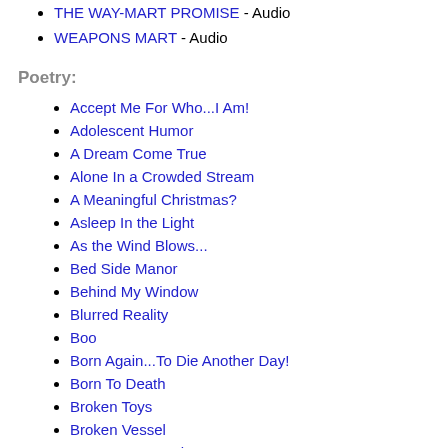THE WAY-MART PROMISE - Audio
WEAPONS MART - Audio
Poetry:
Accept Me For Who...I Am!
Adolescent Humor
A Dream Come True
Alone In a Crowded Stream
A Meaningful Christmas?
Asleep In the Light
As the Wind Blows...
Bed Side Manor
Behind My Window
Blurred Reality
Boo
Born Again...To Die Another Day!
Born To Death
Broken Toys
Broken Vessel
Carry Me, I Need to Rest
Cereal Killer: The Sugary Demise of Cap'n Crunch